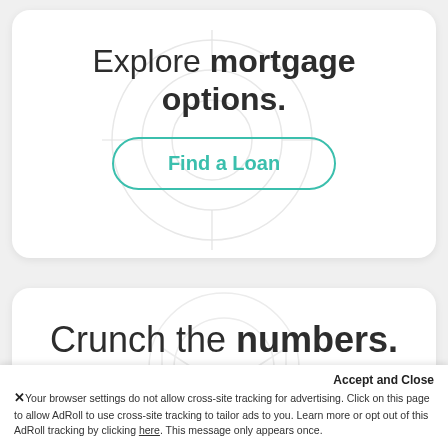Explore mortgage options.
Find a Loan
Crunch the numbers.
Accept and Close
✕ Your browser settings do not allow cross-site tracking for advertising. Click on this page to allow AdRoll to use cross-site tracking to tailor ads to you. Learn more or opt out of this AdRoll tracking by clicking here. This message only appears once.